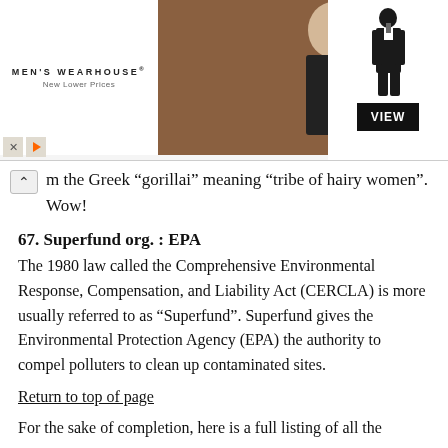[Figure (other): Men's Wearhouse advertisement banner showing a couple in formal wear and a man in a tuxedo with a VIEW button]
m the Greek “gorillai” meaning “tribe of hairy women”. Wow!
67. Superfund org. : EPA
The 1980 law called the Comprehensive Environmental Response, Compensation, and Liability Act (CERCLA) is more usually referred to as “Superfund”. Superfund gives the Environmental Protection Agency (EPA) the authority to compel polluters to clean up contaminated sites.
Return to top of page
For the sake of completion, here is a full listing of all the answers: